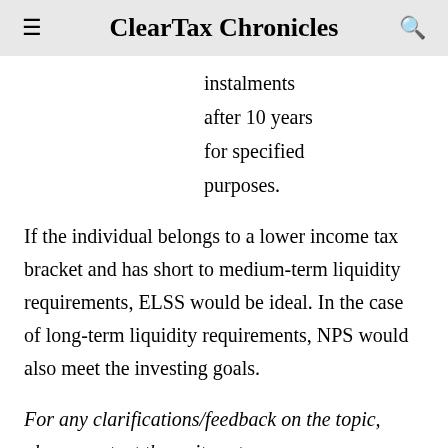ClearTax Chronicles
instalments after 10 years for specified purposes.
If the individual belongs to a lower income tax bracket and has short to medium-term liquidity requirements, ELSS would be ideal. In the case of long-term liquidity requirements, NPS would also meet the investing goals.
For any clarifications/feedback on the topic, please contact the writer at